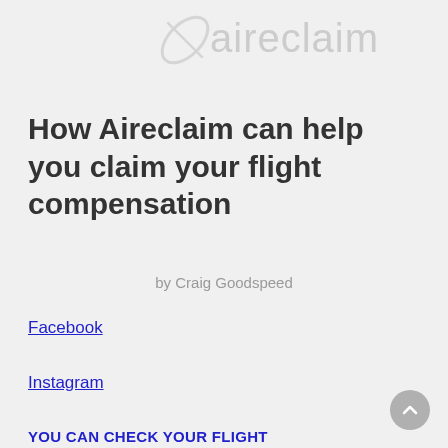aireclaim
How Aireclaim can help you claim your flight compensation
by Craig Goodspeed
Facebook
Instagram
YOU CAN CHECK YOUR FLIGHT